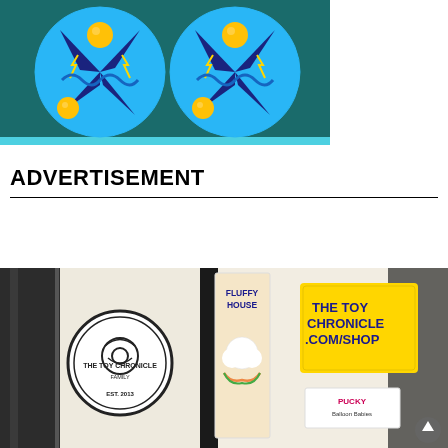[Figure (illustration): Two circular toy spinner / fidget toy logos on a teal/dark teal background. Each circle has a light blue background with dark blue triangular spinner arms, yellow/gold ball bearings, and yellow lightning bolt accents.]
ADVERTISEMENT
[Figure (photo): Photo of a toy store display stand on a fence covered in stickers. Shows 'The Toy Chronicle Family Est. 2013' circular logo sticker, a 'Fluffy House' tall banner with a cute cloud character, a yellow 'THE TOY CHRONICLE .COM/SHOP' sign, and a 'PUCKY Balloon Babies' sign at the bottom.]